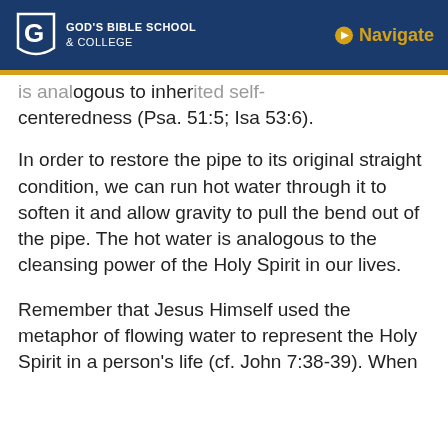God's Bible School & College — Navigate
is analogous to inherited self-centeredness (Psa. 51:5; Isa 53:6).
In order to restore the pipe to its original straight condition, we can run hot water through it to soften it and allow gravity to pull the bend out of the pipe. The hot water is analogous to the cleansing power of the Holy Spirit in our lives.
Remember that Jesus Himself used the metaphor of flowing water to represent the Holy Spirit in a person's life (cf. John 7:38-39). When